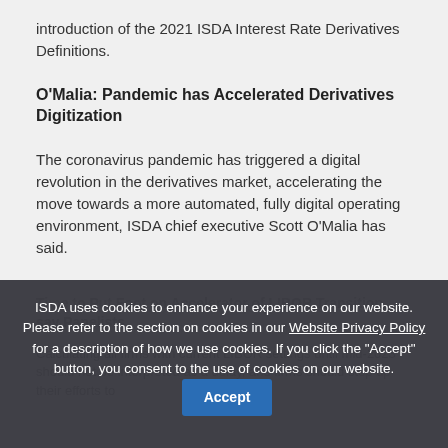introduction of the 2021 ISDA Interest Rate Derivatives Definitions.
O'Malia: Pandemic has Accelerated Derivatives Digitization
The coronavirus pandemic has triggered a digital revolution in the derivatives market, accelerating the move towards a more automated, fully digital operating environment, ISDA chief executive Scott O'Malia has said.
ISDA uses cookies to enhance your experience on our website. Please refer to the section on cookies in our Website Privacy Policy for a description of how we use cookies. If you click the "Accept" button, you consent to the use of cookies on our website.